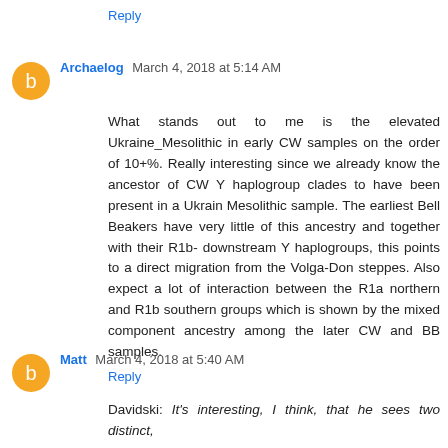Reply
Archaelog March 4, 2018 at 5:14 AM
What stands out to me is the elevated Ukraine_Mesolithic in early CW samples on the order of 10+%. Really interesting since we already know the ancestor of CW Y haplogroup clades to have been present in a Ukrain Mesolithic sample. The earliest Bell Beakers have very little of this ancestry and together with their R1b-downstream Y haplogroups, this points to a direct migration from the Volga-Don steppes. Also expect a lot of interaction between the R1a northern and R1b southern groups which is shown by the mixed component ancestry among the later CW and BB samples.
Reply
Matt March 4, 2018 at 5:40 AM
Davidski: It's interesting, I think, that he sees two distinct,